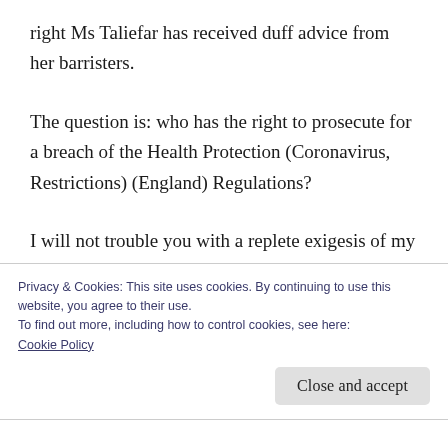right Ms Taliefar has received duff advice from her barristers.
The question is: who has the right to prosecute for a breach of the Health Protection (Coronavirus, Restrictions) (England) Regulations?
I will not trouble you with a replete exigesis of my own on the law surrounding private prosecutions generally. Those who enjoy that sort of thing can
Privacy & Cookies: This site uses cookies. By continuing to use this website, you agree to their use.
To find out more, including how to control cookies, see here:
Cookie Policy
Close and accept